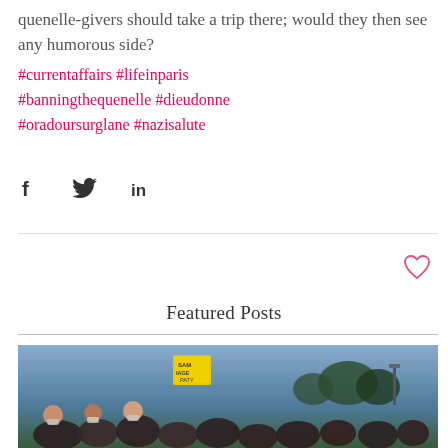quenelle-givers should take a trip there; would they then see any humorous side?
#currentaffairs #lifeinparis #banningthequenelle #dieudonne #oradoursurglane #nazisalute
[Figure (other): Social media share icons: Facebook (f), Twitter (bird), LinkedIn (in)]
[Figure (other): Heart/like icon outline in red/pink]
Featured Posts
[Figure (photo): Crowd of people at an outdoor gathering or vigil, some wearing masks. A person holds a yellow sign. Trees and streetlights visible in background under a blue-grey sky.]